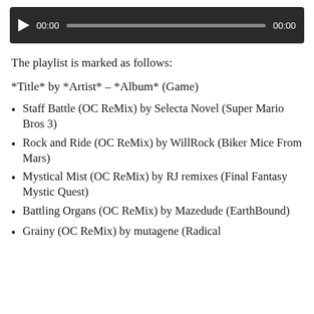[Figure (screenshot): Audio player bar with play button, 00:00 time display, progress bar, and 00:00 end time on dark background]
The playlist is marked as follows:
*Title* by *Artist* – *Album* (Game)
Staff Battle (OC ReMix) by Selecta Novel (Super Mario Bros 3)
Rock and Ride (OC ReMix) by WillRock (Biker Mice From Mars)
Mystical Mist (OC ReMix) by RJ remixes (Final Fantasy Mystic Quest)
Battling Organs (OC ReMix) by Mazedude (EarthBound)
Grainy (OC ReMix) by mutagene (Radical